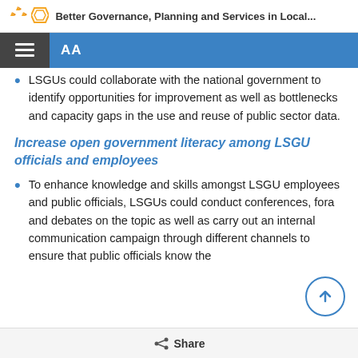Better Governance, Planning and Services in Local...
LSGUs could collaborate with the national government to identify opportunities for improvement as well as bottlenecks and capacity gaps in the use and reuse of public sector data.
Increase open government literacy among LSGU officials and employees
To enhance knowledge and skills amongst LSGU employees and public officials, LSGUs could conduct conferences, fora and debates on the topic as well as carry out an internal communication campaign through different channels to ensure that public officials know the